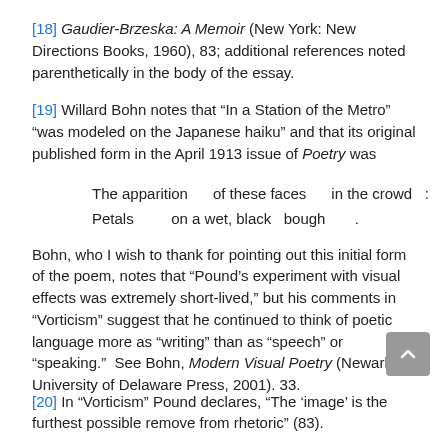[18] Gaudier-Brzeska: A Memoir (New York: New Directions Books, 1960), 83; additional references noted parenthetically in the body of the essay.
[19] Willard Bohn notes that “In a Station of the Metro” “was modeled on the Japanese haiku” and that its original published form in the April 1913 issue of Poetry was
The apparition      of these faces      in the crowd   :
Petals         on a wet, black   bough       .
Bohn, who I wish to thank for pointing out this initial form of the poem, notes that “Pound’s experiment with visual effects was extremely short-lived,” but his comments in “Vorticism” suggest that he continued to think of poetic language more as “writing” than as “speech” or “speaking.”  See Bohn, Modern Visual Poetry (Newark: University of Delaware Press, 2001). 33.
[20] In “Vorticism” Pound declares, “The ‘image’ is the furthest possible remove from rhetoric” (83).